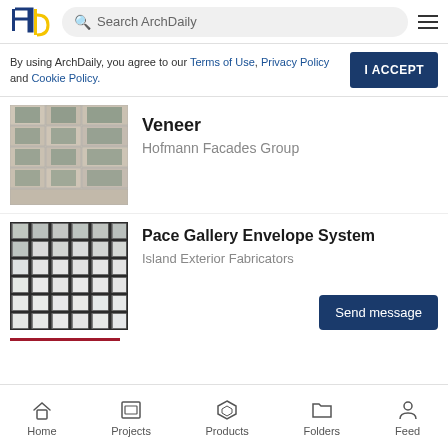ArchDaily – Search ArchDaily
By using ArchDaily, you agree to our Terms of Use, Privacy Policy and Cookie Policy.
I ACCEPT
[Figure (photo): Facade of a building with stone cladding and windows — Veneer product by Hofmann Facades Group]
Veneer
Hofmann Facades Group
[Figure (photo): Curtain wall glass and steel grid facade — Pace Gallery Envelope System by Island Exterior Fabricators]
Pace Gallery Envelope System
Island Exterior Fabricators
Send message
Home  Projects  Products  Folders  Feed